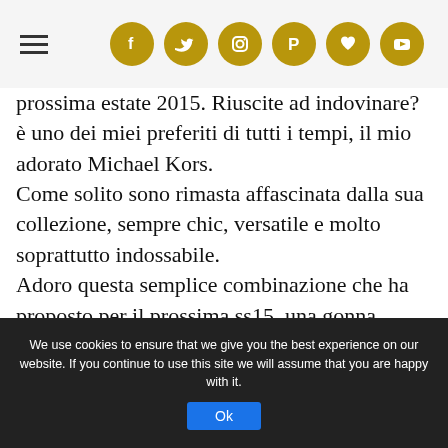[hamburger menu] [social icons: Facebook, Twitter, Instagram, Pinterest, Heart, YouTube]
prossima estate 2015. Riuscite ad indovinare? è uno dei miei preferiti di tutti i tempi, il mio adorato Michael Kors.
Come solito sono rimasta affascinata dalla sua collezione, sempre chic, versatile e molto soprattutto indossabile.
Adoro questa semplice combinazione che ha proposto per il prossima ss15, una gonna floreale e una camicia semplice azzurra. Credo che sia un look tanto semplice quanto d'effetto e infatti era stato molto apprezzato alla settimana della moda a Parigi.
We use cookies to ensure that we give you the best experience on our website. If you continue to use this site we will assume that you are happy with it.
Ok